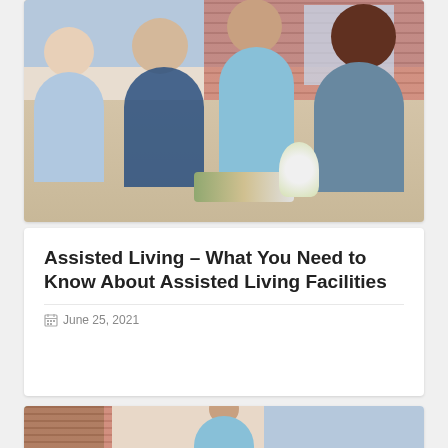[Figure (photo): Photo of elderly residents dining at a table with a female caregiver in a light blue top pouring water; brick wall and windows in background]
Assisted Living – What You Need to Know About Assisted Living Facilities
June 25, 2021
[Figure (photo): Partial photo of a caregiver in light blue top with elderly residents, same setting as top photo with brick wall and trees visible]